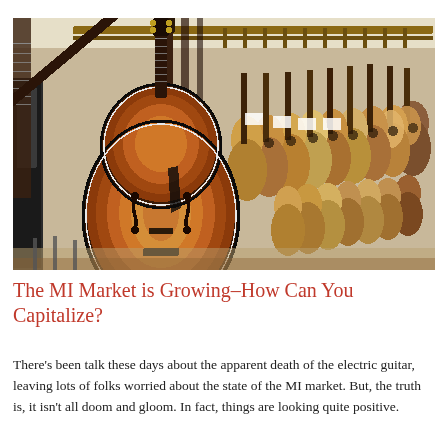[Figure (photo): A music store display wall densely packed with acoustic and semi-hollow electric guitars hanging in rows. In the foreground is a large sunburst archtop semi-hollow electric guitar. Behind it are many acoustic guitars of various sizes and colors, from honey blonde to dark mahogany, covering the entire wall from floor to ceiling.]
The MI Market is Growing–How Can You Capitalize?
There's been talk these days about the apparent death of the electric guitar, leaving lots of folks worried about the state of the MI market. But, the truth is, it isn't all doom and gloom. In fact, things are looking quite positive.